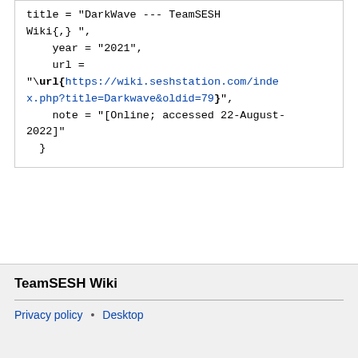title = "DarkWave --- TeamSESH Wiki{,} ",
    year = "2021",
    url = "\url{https://wiki.seshstation.com/index.php?title=Darkwave&oldid=79}",
    note = "[Online; accessed 22-August-2022]"
  }
TeamSESH Wiki
Privacy policy • Desktop